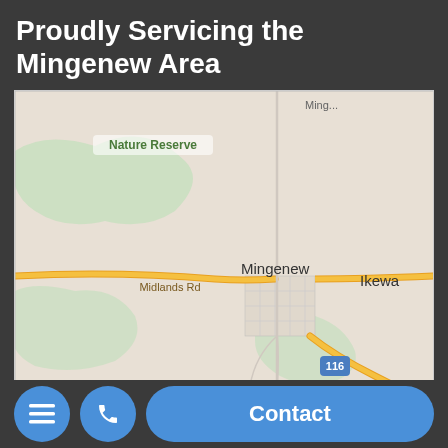Proudly Servicing the Mingenew Area
[Figure (map): Google Maps screenshot showing the Mingenew area in Western Australia. The map displays Mingenew town with a grid street pattern, nearby localities Ikewa to the east, a Nature Reserve to the northwest, Midlands Road running east-west, and route 116 running south. Yellow roads indicate major routes.]
Contact